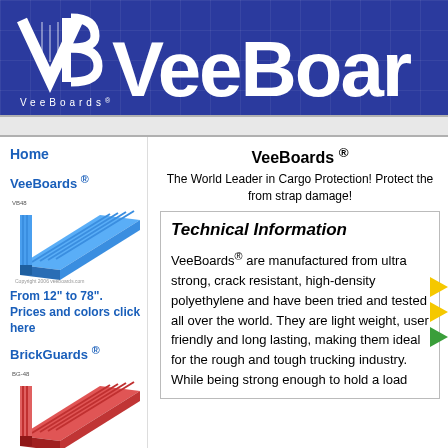[Figure (logo): VeeBoards logo with VB icon and 'VeeBoards' text banner in blue background with grid pattern]
Home
VeeBoards ®
[Figure (photo): Blue VeeBoards corner protector product illustration]
From 12" to 78". Prices and colors click here
BrickGuards ®
[Figure (photo): Red BrickGuards corner protector product illustration]
From 24" drop to 36" drop. Prices and colors click here
VeeBoards ®
The World Leader in Cargo Protection! Protect the from strap damage!
Technical Information
VeeBoards® are manufactured from ultra strong, crack resistant, high-density polyethylene and have been tried and tested all over the world. They are light weight, user friendly and long lasting, making them ideal for the rough and tough trucking industry. While being strong enough to hold a load